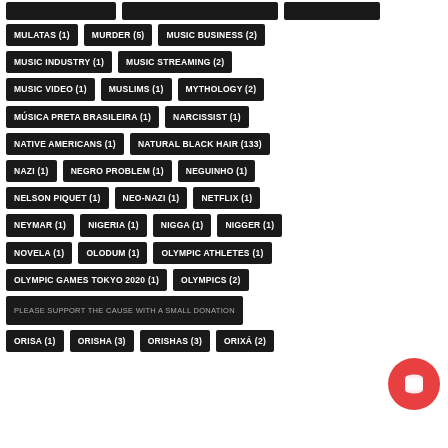MULATAS (1)
MURDER (5)
MUSIC BUSINESS (2)
MUSIC INDUSTRY (1)
MUSIC STREAMING (2)
MUSIC VIDEO (1)
MUSLIMS (1)
MYTHOLOGY (2)
MÚSICA PRETA BRASILEIRA (1)
NARCISSIST (1)
NATIVE AMERICANS (1)
NATURAL BLACK HAIR (133)
NAZI (1)
NEGRO PROBLEM (1)
NEGUINHO (1)
NELSON PIQUET (1)
NEO-NAZI (1)
NETFLIX (1)
NEYMAR (1)
NIGERIA (1)
NIGGA (1)
NIGGER (1)
NOVELA (1)
OLODUM (1)
OLYMPIC ATHLETES (1)
OLYMPIC GAMES TOKYO 2020 (1)
OLYMPICS (2)
PLEASE SUPPORT THE CAUSE WITH A SMALL DONATION
ORISA (1)
ORISHA (3)
ORISHAS (3)
ORIXÁ (2)